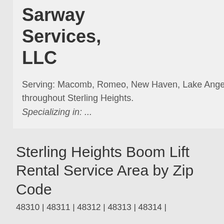Sarway Services, LLC
Serving: Macomb, Romeo, New Haven, Lake Angelus and throughout Sterling Heights.
Specializing in: ...
Sterling Heights Boom Lift Rental Service Area by Zip Code
48310 | 48311 | 48312 | 48313 | 48314 |
Top Markets for Boom Lift Rental in Michigan
Ann Arbor | Detroit | Flint | Grand Rapids | Lansing | Warren |